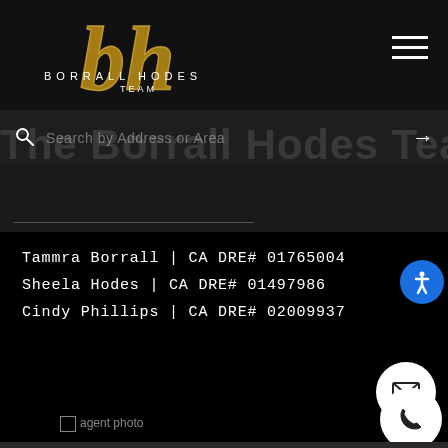[Figure (logo): Borrall Hodes Team logo with gold stylized 'bh' script and white text 'BORRALL HODES TEAM']
[Figure (screenshot): Search bar with magnifying glass icon, placeholder text 'Search by Address or Area', and right arrow]
The Borrall Hodes Team
Tammra Borrall | CA DRE# 01765004
Sheela Hodes | CA DRE# 01497986
Cindy Phillips | CA DRE# 02009937
[Figure (infographic): White circular email button with envelope icon]
[Figure (infographic): White circular phone button with handset icon]
[Figure (photo): Agent photo placeholder image (broken image icon with 'agent photo' alt text)]